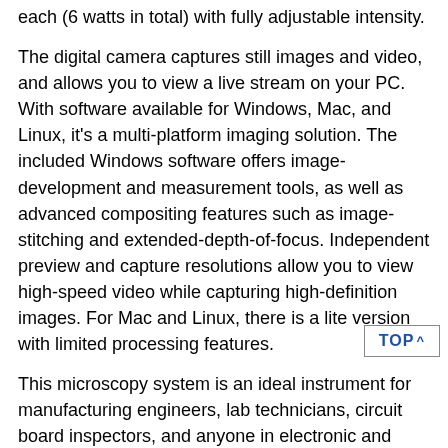each (6 watts in total) with fully adjustable intensity.
The digital camera captures still images and video, and allows you to view a live stream on your PC. With software available for Windows, Mac, and Linux, it's a multi-platform imaging solution. The included Windows software offers image-development and measurement tools, as well as advanced compositing features such as image-stitching and extended-depth-of-focus. Independent preview and capture resolutions allow you to view high-speed video while capturing high-definition images. For Mac and Linux, there is a lite version with limited processing features.
This microscopy system is an ideal instrument for manufacturing engineers, lab technicians, circuit board inspectors, and anyone in electronic and semiconductor industries.
Features:
A stereo inspection microscope with a dual gooseneck LED lights and a 10MP color digital camera
3.5X-225X super wide zoom magnification